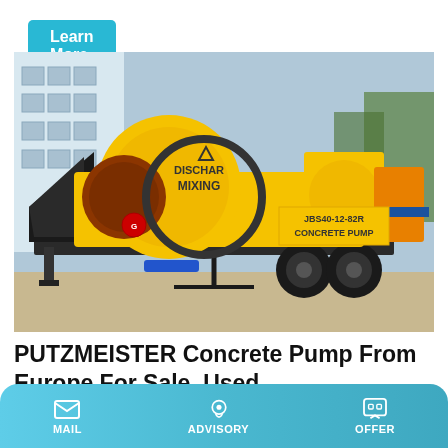Learn More
[Figure (photo): Yellow concrete pump mixer machine (JBSА0-12-82R CONCRETE PUMP) on wheels with drum mixer labeled DISCHAR MIXING, parked outdoors near a building]
PUTZMEISTER Concrete Pump From Europe For Sale, Used
MAIL   ADVISORY   OFFER